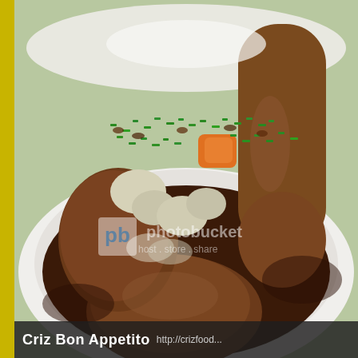[Figure (photo): Close-up photo of a braised pork knuckle dish in a white bowl, topped with chopped green onions, carrot pieces, potato chunks, and dark braising sauce. A Photobucket watermark overlay is visible on the image.]
Criz Bon Appetito  http://crizfood...